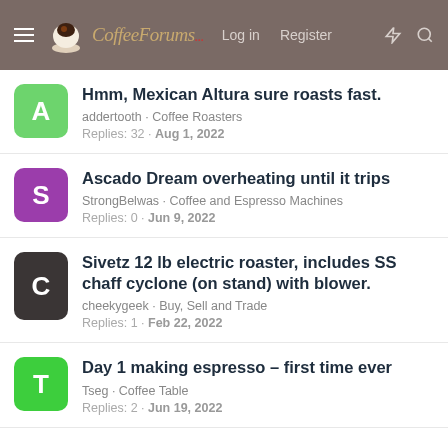CoffeeForums.com — Log in  Register
Hmm, Mexican Altura sure roasts fast.
addertooth · Coffee Roasters
Replies: 32 · Aug 1, 2022
Ascado Dream overheating until it trips
StrongBelwas · Coffee and Espresso Machines
Replies: 0 · Jun 9, 2022
Sivetz 12 lb electric roaster, includes SS chaff cyclone (on stand) with blower.
cheekygeek · Buy, Sell and Trade
Replies: 1 · Feb 22, 2022
Day 1 making espresso – first time ever
Tseg · Coffee Table
Replies: 2 · Jun 19, 2022